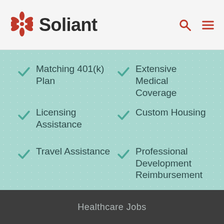Soliant
Matching 401(k) Plan
Extensive Medical Coverage
Licensing Assistance
Custom Housing
Travel Assistance
Professional Development Reimbursement
Healthcare Jobs